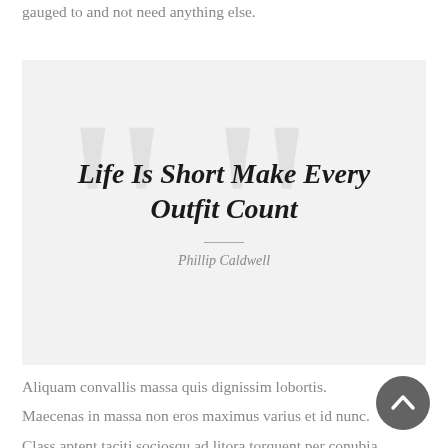gauged to and not need anything else.
[Figure (illustration): Quote block with large decorative quotation marks in the background on a light grey background. Contains bold italic text reading 'Life Is Short Make Every Outfit Count' with attribution to Phillip Caldwell below a horizontal divider.]
Aliquam convallis massa quis dignissim lobortis.
Maecenas in massa non eros maximus varius et id nunc.
Class aptent taciti sociosqu ad litora torquent per conubia